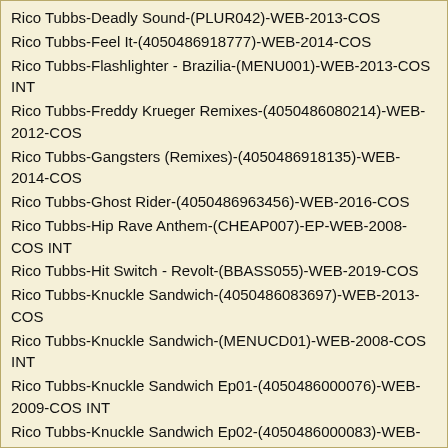Rico Tubbs-Deadly Sound-(PLUR042)-WEB-2013-COS
Rico Tubbs-Feel It-(4050486918777)-WEB-2014-COS
Rico Tubbs-Flashlighter - Brazilia-(MENU001)-WEB-2013-COS INT
Rico Tubbs-Freddy Krueger Remixes-(4050486080214)-WEB-2012-COS
Rico Tubbs-Gangsters (Remixes)-(4050486918135)-WEB-2014-COS
Rico Tubbs-Ghost Rider-(4050486963456)-WEB-2016-COS
Rico Tubbs-Hip Rave Anthem-(CHEAP007)-EP-WEB-2008-COS INT
Rico Tubbs-Hit Switch - Revolt-(BBASS055)-WEB-2019-COS
Rico Tubbs-Knuckle Sandwich-(4050486083697)-WEB-2013-COS
Rico Tubbs-Knuckle Sandwich-(MENUCD01)-WEB-2008-COS INT
Rico Tubbs-Knuckle Sandwich Ep01-(4050486000076)-WEB-2009-COS INT
Rico Tubbs-Knuckle Sandwich Ep02-(4050486000083)-WEB-2009-COS INT
Rico Tubbs-Knuckle Sandwich Ep03-(4050486000090)